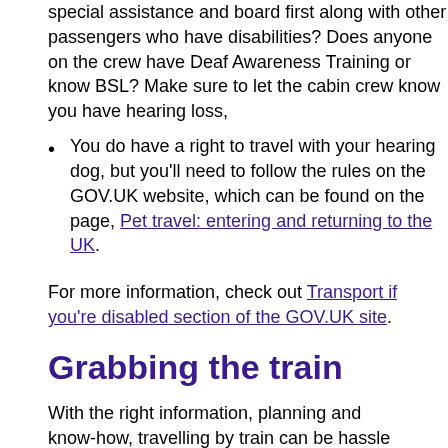special assistance and board first along with other passengers who have disabilities? Does anyone on the crew have Deaf Awareness Training or know BSL? Make sure to let the cabin crew know you have hearing loss,
You do have a right to travel with your hearing dog, but you'll need to follow the rules on the GOV.UK website, which can be found on the page, Pet travel: entering and returning to the UK.
For more information, check out Transport if you're disabled section of the GOV.UK site.
Grabbing the train
With the right information, planning and know-how, travelling by train can be hassle free. Let's get on